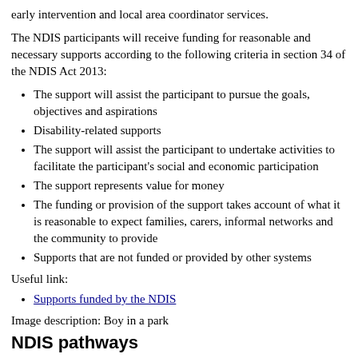early intervention and local area coordinator services.
The NDIS participants will receive funding for reasonable and necessary supports according to the following criteria in section 34 of the NDIS Act 2013:
The support will assist the participant to pursue the goals, objectives and aspirations
Disability-related supports
The support will assist the participant to undertake activities to facilitate the participant's social and economic participation
The support represents value for money
The funding or provision of the support takes account of what it is reasonable to expect families, carers, informal networks and the community to provide
Supports that are not funded or provided by other systems
Useful link:
Supports funded by the NDIS
Image description: Boy in a park
NDIS pathways